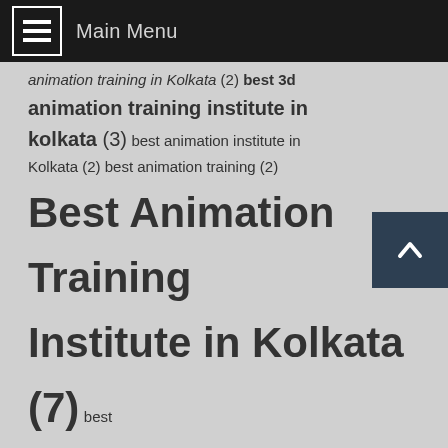Main Menu
animation training in Kolkata (2) best 3d animation training institute in kolkata (3) best animation institute in Kolkata (2) best animation training (2) Best Animation Training Institute in Kolkata (7) best institute of digital marketing (1) best VFX training in Kolkata (2) Best VFX Training Institute in Kolkata (2) CCNA training institute in Kolkata (2) digital marketing (2) digital marketing institutes in Kolkata (1) digitalmarketing training (1) Digital marketing training (1) digital marketing training in Kolkata (1) Digital marketing training institute (1) Digital Training Clasess (1)